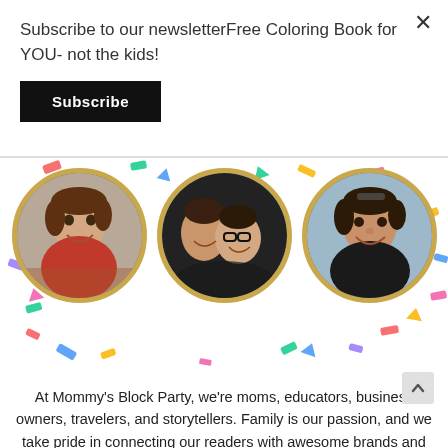Subscribe to our newsletterFree Coloring Book for YOU- not the kids!
Subscribe
[Figure (photo): Three circular portrait photos of women with gold borders on a confetti background]
At Mommy's Block Party, we're moms, educators, business owners, travelers, and storytellers. Family is our passion, and we take pride in connecting our readers with awesome brands and memorable experiences. Want to join the party? Contact Editor Ondria Witt & let's chat about the ways we can work together: